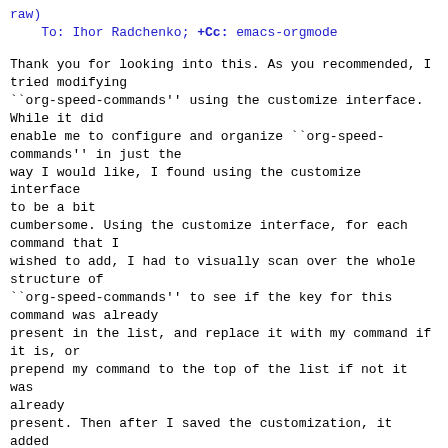raw)
    To: Ihor Radchenko; +Cc: emacs-orgmode
Thank you for looking into this. As you recommended, I tried modifying
``org-speed-commands'' using the customize interface. While it did
enable me to configure and organize ``org-speed-commands'' in just the
way I would like, I found using the customize interface to be a bit
cumbersome. Using the customize interface, for each command that I
wished to add, I had to visually scan over the whole structure of
``org-speed-commands'' to see if the key for this command was already
present in the list, and replace it with my command if it is, or
prepend my command to the top of the list if not it was already
present. Then after I saved the customization, it added the whole new
value of ``org-speed-commands'' to the end of my init.el, making it
more cluttered.
Alternatively using my ``org-speed-command-add''
requires me to add a
single command to my init.el containing only my